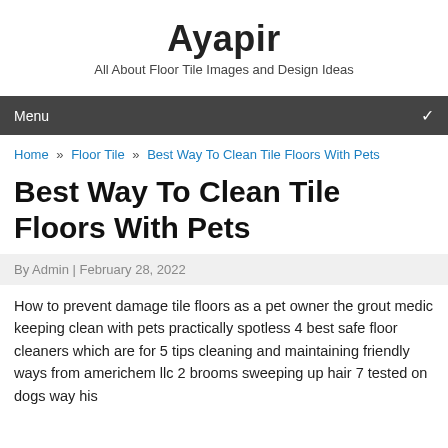Ayapir
All About Floor Tile Images and Design Ideas
Menu
Home » Floor Tile » Best Way To Clean Tile Floors With Pets
Best Way To Clean Tile Floors With Pets
By Admin | February 28, 2022
How to prevent damage tile floors as a pet owner the grout medic keeping clean with pets practically spotless 4 best safe floor cleaners which are for 5 tips cleaning and maintaining friendly ways from americhem llc 2 brooms sweeping up hair 7 tested on dogs way his